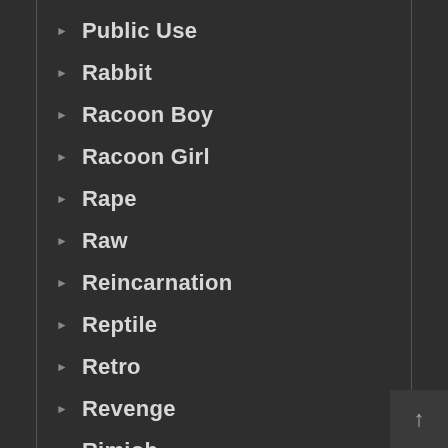Public Use
Rabbit
Racoon Boy
Racoon Girl
Rape
Raw
Reincarnation
Reptile
Retro
Revenge
Rimjob
Robot
Romance